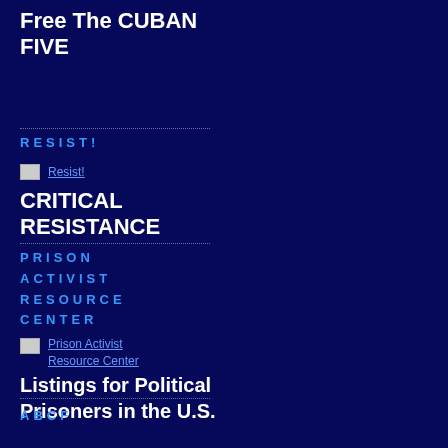Free The CUBAN FIVE
RESIST!
[Figure (other): Broken image thumbnail link labeled Resist!]
CRITICAL RESISTANCE
PRISON ACTIVIST RESOURCE CENTER
[Figure (other): Broken image thumbnail link labeled Prison Activist Resource Center]
Listings for Political Prisoners in the U.S.
ABCF